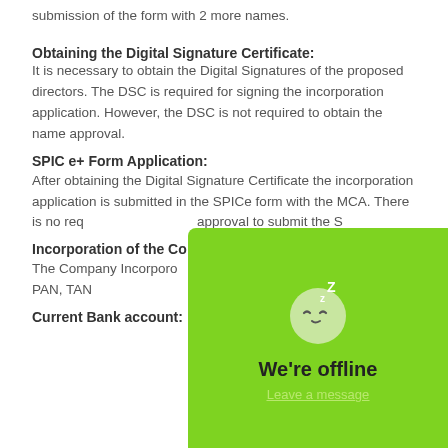submission of the form with 2 more names.
Obtaining the Digital Signature Certificate:
It is necessary to obtain the Digital Signatures of the proposed directors. The DSC is required for signing the incorporation application. However, the DSC is not required to obtain the name approval.
SPIC e+ Form Application:
After obtaining the Digital Signature Certificate the incorporation application is submitted in the SPICe form with the MCA. There is no req… approval to submit the S…
Incorporation of the Co…
The Company Incorpora… along with the PAN, TAN… days.
Current Bank account:
[Figure (other): Chat widget overlay showing sleeping face emoji with Z letters, text 'We're offline' and 'Leave a message' link on a green background]